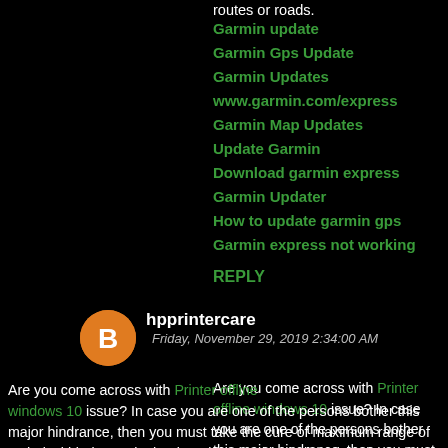routes or roads.
Garmin update
Garmin Gps Update
Garmin Updates
www.garmin.com/express
Garmin Map Updates
Update Garmin
Download garmin express
Garmin Updater
How to update garmin gps
Garmin express not working
REPLY
hpprintercare
Friday, November 29, 2019 2:34:00 AM
Are you come across with Printer offline windows 10 issue? In case you are one of the persons bother this major hindrance, then you must take the cure of maximum range of technical hindrance by hook and by crook. It is the wish of many customers that they can start the bring work regardless of operating system. In these days, windows 10 have achieved the fair popularity to provide the most soluble solutions to all users. Since windows 10